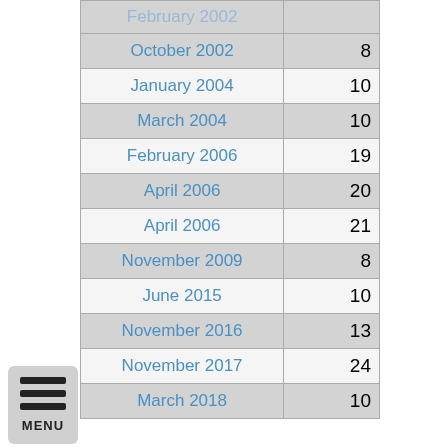| Date | Number |
| --- | --- |
| February 2002 |  |
| October 2002 | 8 |
| January 2004 | 10 |
| March 2004 | 10 |
| February 2006 | 19 |
| April 2006 | 20 |
| April 2006 | 21 |
| November 2009 | 8 |
| June 2015 | 10 |
| November 2016 | 13 |
| November 2017 | 24 |
| March 2018 | 10 |